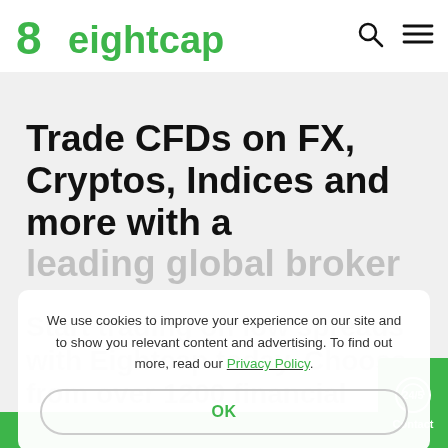[Figure (logo): Eightcap logo with green 8 icon and green text 'eightcap']
Trade CFDs on FX, Cryptos, Indices and more with a leading global broker
Start trading on low spreads with Eightcap today. Choose from over 1200 financial instruments.
We use cookies to improve your experience on our site and to show you relevant content and advertising. To find out more, read our Privacy Policy.
OK